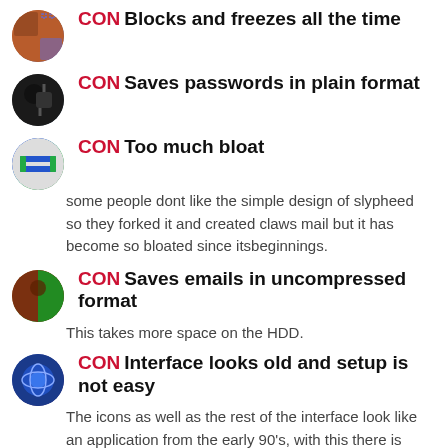CON Blocks and freezes all the time
CON Saves passwords in plain format
CON Too much bloat
some people dont like the simple design of slypheed so they forked it and created claws mail but it has become so bloated since itsbeginnings.
CON Saves emails in uncompressed format
This takes more space on the HDD.
CON Interface looks old and setup is not easy
The icons as well as the rest of the interface look like an application from the early 90's, with this there is also no